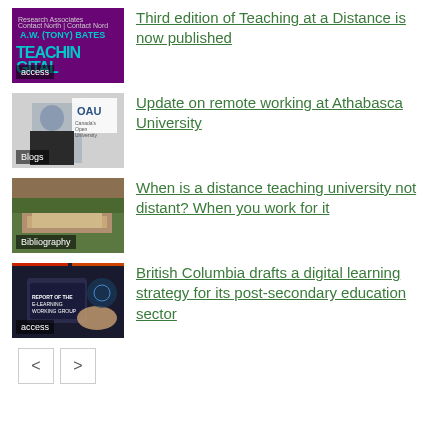[Figure (illustration): Book cover for Teaching at a Distance with purple background and text 'A.W. (Tony) Bates', labeled 'access']
Third edition of Teaching at a Distance is now published
[Figure (photo): Man in suit against white background with OAU (Athabasca University) logo, labeled 'Blogs']
Update on remote working at Athabasca University
[Figure (photo): Aerial view of a building surrounded by trees, labeled 'Bibliography']
When is a distance teaching university not distant? When you work for it
[Figure (screenshot): Dark image with hands on tablet showing 'Report of the E-Learning Working Group', labeled 'access']
British Columbia drafts a digital learning strategy for its post-secondary education sector